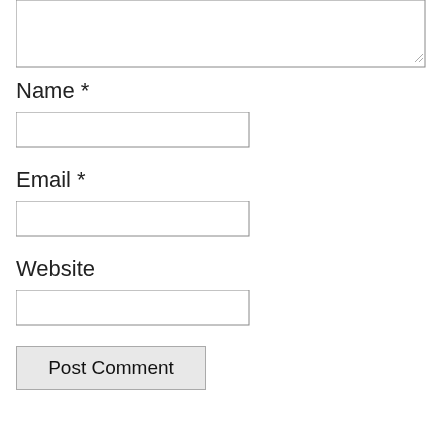[Figure (screenshot): Partial textarea form field at top of page, showing bottom portion of a comment text area with resize handle in bottom-right corner]
Name *
[Figure (screenshot): Empty text input field for Name]
Email *
[Figure (screenshot): Empty text input field for Email]
Website
[Figure (screenshot): Empty text input field for Website]
Post Comment